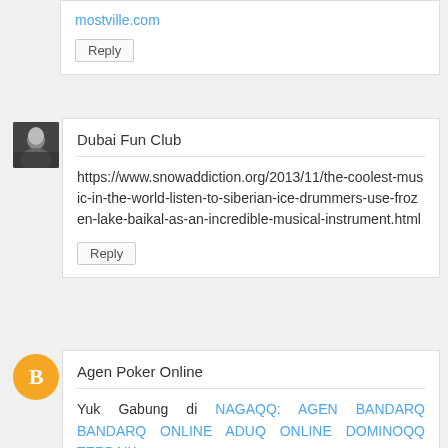mostville.com
Reply
Dubai Fun Club
https://www.snowaddiction.org/2013/11/the-coolest-music-in-the-world-listen-to-siberian-ice-drummers-use-frozen-lake-baikal-as-an-incredible-musical-instrument.html
Reply
Agen Poker Online
Yuk Gabung di NAGAQQ: AGEN BANDARQ BANDARQ ONLINE ADUQ ONLINE DOMINOQQ TERBAIK
Yang Merupakan Agen Bandarq, Domino 99, Dan Bandar Poker Online Terpercaya di asia hadir untuk anda semua dengan permainan permainan